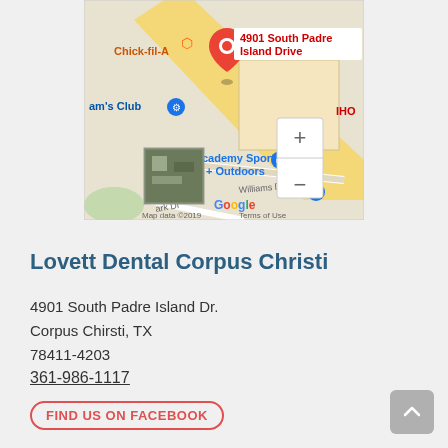[Figure (screenshot): Google Maps screenshot showing location pin at 4901 South Padre Island Drive, Corpus Christi, TX, with nearby landmarks including Chick-fil-A, Sam's Club, Academy Sports + Outdoors, IHO, PetSmart, and Williams Dr. Shows zoom controls and Google branding with 'Map data ©2019 Terms of Use'.]
Lovett Dental Corpus Christi
4901 South Padre Island Dr.
Corpus Chirsti, TX
78411-4203
361-986-1117
FIND US ON FACEBOOK